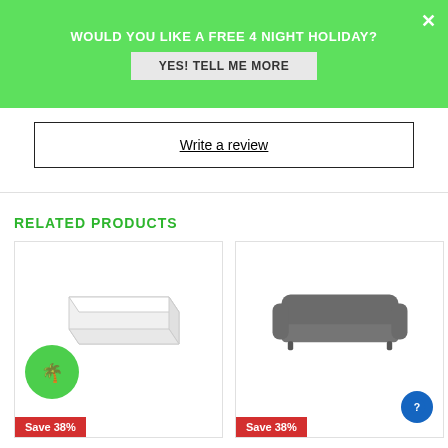WOULD YOU LIKE A FREE 4 NIGHT HOLIDAY?
YES! TELL ME MORE
Write a review
RELATED PRODUCTS
[Figure (photo): White mattress product image with green holiday badge and Save 38% red badge]
[Figure (photo): Grey sofa cover product image with Save 38% red badge]